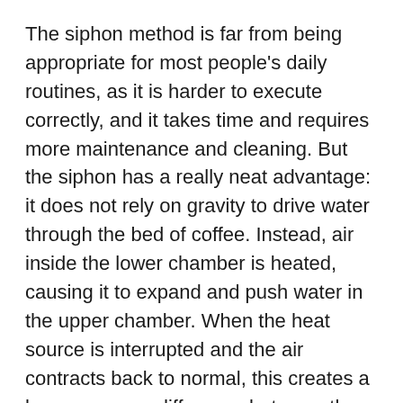The siphon method is far from being appropriate for most people's daily routines, as it is harder to execute correctly, and it takes time and requires more maintenance and cleaning. But the siphon has a really neat advantage: it does not rely on gravity to drive water through the bed of coffee. Instead, air inside the lower chamber is heated, causing it to expand and push water in the upper chamber. When the heat source is interrupted and the air contracts back to normal, this creates a large pressure difference between the lower and upper chambers, and sucks back water through the coffee bed, even if the coffee is ground fine enough to completely clog a V60 brew.
These siphon mechanics open up a very interesting door: you can play with much finer grind sizes and much higher average extraction yields than a V60. The